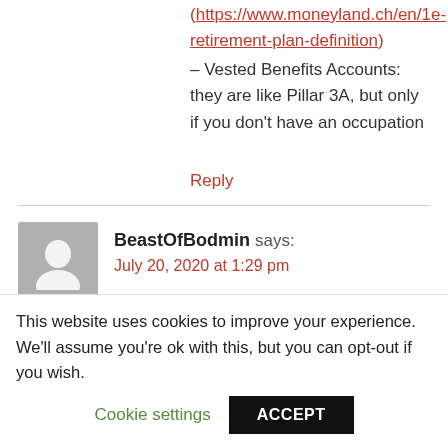(https://www.moneyland.ch/en/1e-retirement-plan-definition)
– Vested Benefits Accounts: they are like Pillar 3A, but only if you don't have an occupation
Reply
BeastOfBodmin says:
July 20, 2020 at 1:29 pm
This website uses cookies to improve your experience. We'll assume you're ok with this, but you can opt-out if you wish.
Cookie settings
ACCEPT